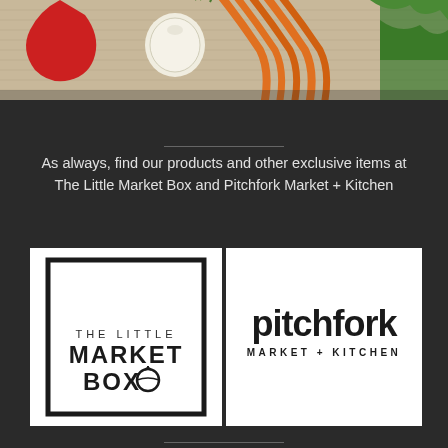[Figure (photo): Top portion of a photograph showing fresh vegetables including carrots, onions, tomatoes, and leafy greens arranged on a burlap surface]
As always, find our products and other exclusive items at The Little Market Box and Pitchfork Market + Kitchen
[Figure (logo): The Little Market Box logo — rectangular border with text 'THE LITTLE MARKET BOX' and a small tomato icon, black on white]
[Figure (logo): Pitchfork Market + Kitchen logo — bold lowercase 'pitchfork' text with 'MARKET + KITCHEN' below, black on white]